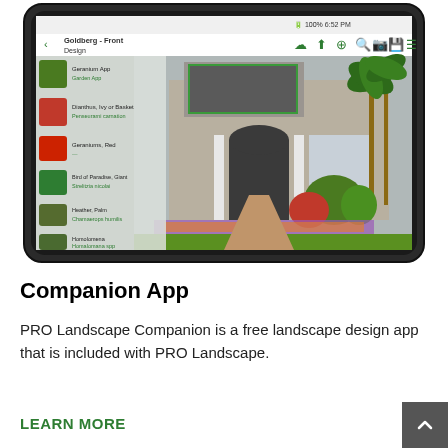[Figure (screenshot): A tablet device displaying the PRO Landscape Companion app, showing a front yard landscape design of a house with a plant list panel on the left side listing items like Geranium, Dianthus, Bird of Paradise, Heather, and Homelomons.]
Companion App
PRO Landscape Companion is a free landscape design app that is included with PRO Landscape.
LEARN MORE